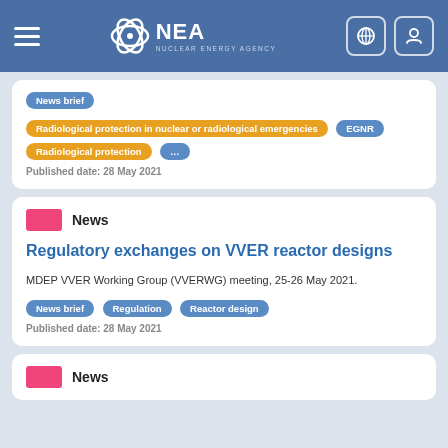NEA Nuclear Energy Agency
News brief
Radiological protection in nuclear or radiological emergencies  EGNR
Radiological protection  ...
Published date: 28 May 2021
News
Regulatory exchanges on VVER reactor designs
MDEP VVER Working Group (VVERWG) meeting, 25-26 May 2021.
News brief  Regulation  Reactor design
Published date: 28 May 2021
News